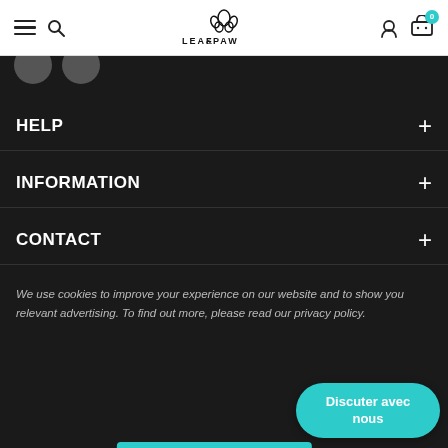LEAF & PAW — website header with navigation icons and cart (0)
HELP
INFORMATION
CONTACT
We use cookies to improve your experience on our website and to show you relevant advertising. To find out more, please read our privacy policy.
AJOUTER AU PANIER
Discuter avec nous